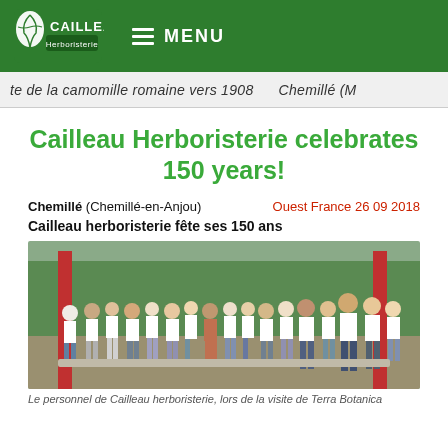Cailleau Herboristerie — MENU
[Figure (photo): Scrolling banner image strip showing text: 'te de la camomille romaine vers 1908  Chemillé (M' on a light background]
Cailleau Herboristerie celebrates 150 years!
Chemillé (Chemillé-en-Anjou)   Ouest France 26 09 2018
Cailleau herboristerie fête ses 150 ans
[Figure (photo): Group photo of Cailleau herboristerie staff wearing white polo shirts, standing outdoors near red pillars and green trees, during a visit to Terra Botanica]
Le personnel de Cailleau herboristerie, lors de la visite de Terra Botanica